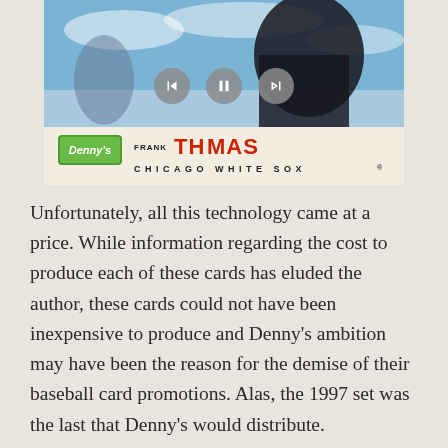[Figure (photo): A baseball card featuring Frank Thomas of the Chicago White Sox, with a Denny's logo in the lower left corner. Media playback controls (back, pause, forward) are overlaid in the center of the image.]
Unfortunately, all this technology came at a price. While information regarding the cost to produce each of these cards has eluded the author, these cards could not have been inexpensive to produce and Denny's ambition may have been the reason for the demise of their baseball card promotions. Alas, the 1997 set was the last that Denny's would distribute.
Even now, Denny's sets and singles are readily